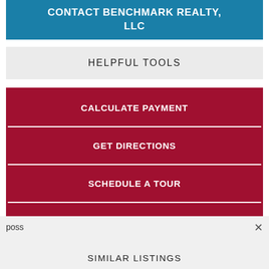CONTACT BENCHMARK REALTY, LLC
HELPFUL TOOLS
CALCULATE PAYMENT
GET DIRECTIONS
SCHEDULE A TOUR
PRINTABLE FLYER
poss
SIMILAR LISTINGS